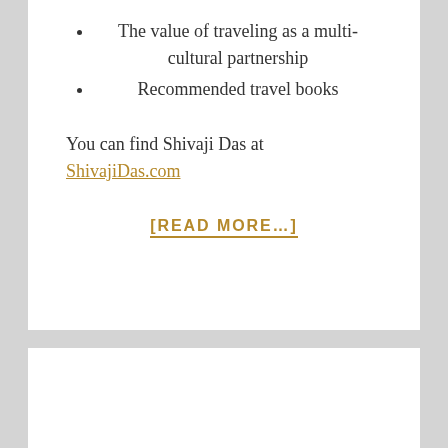The value of traveling as a multi-cultural partnership
Recommended travel books
You can find Shivaji Das at ShivajiDas.com
[READ MORE…]